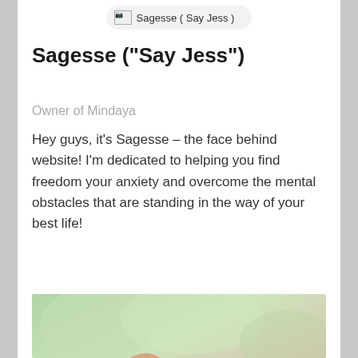Sagesse ( Say Jess )
Sagesse ("Say Jess")
Owner of Mindaya
Hey guys, it's Sagesse – the face behind website! I'm dedicated to helping you find freedom your anxiety and overcome the mental obstacles that are standing in the way of your best life!
[Figure (photo): Hands/fingers close-up photo with blurred green background]